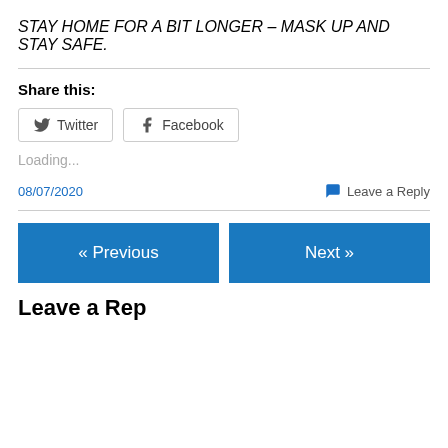STAY HOME FOR A BIT LONGER – MASK UP AND STAY SAFE.
Share this:
[Figure (other): Social share buttons: Twitter and Facebook]
Loading...
08/07/2020
Leave a Reply
« Previous
Next »
Leave a Reply